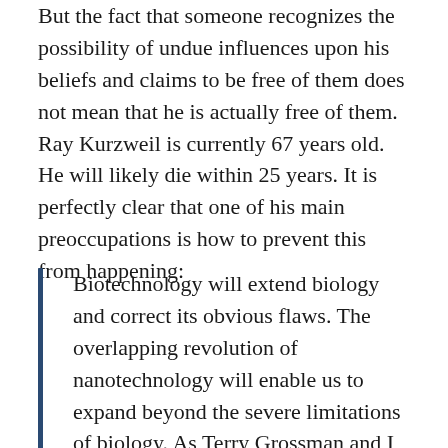But the fact that someone recognizes the possibility of undue influences upon his beliefs and claims to be free of them does not mean that he is actually free of them. Ray Kurzweil is currently 67 years old. He will likely die within 25 years. It is perfectly clear that one of his main preoccupations is how to prevent this from happening:
Biotechnology will extend biology and correct its obvious flaws. The overlapping revolution of nanotechnology will enable us to expand beyond the severe limitations of biology. As Terry Grossman and I articulated in Fantastic Voyage: Live Long...